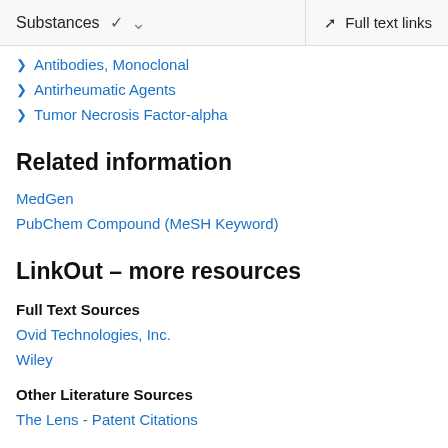Substances  ˅   Full text links
Antibodies, Monoclonal
Antirheumatic Agents
Tumor Necrosis Factor-alpha
Related information
MedGen
PubChem Compound (MeSH Keyword)
LinkOut – more resources
Full Text Sources
Ovid Technologies, Inc.
Wiley
Other Literature Sources
The Lens - Patent Citations
Medical